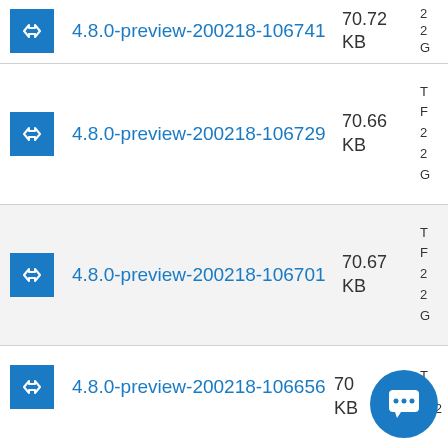4.8.0-preview-200218-106741  70.72 KB
4.8.0-preview-200218-106729  70.66 KB
4.8.0-preview-200218-106701  70.67 KB
4.8.0-preview-200218-106656  KB